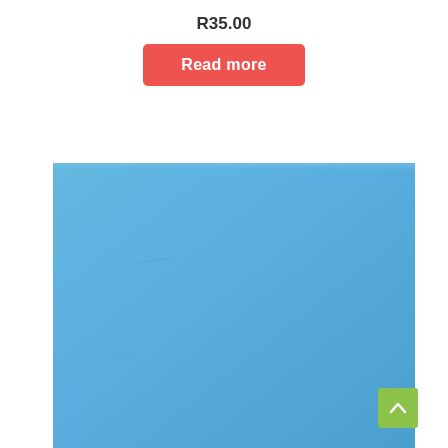R35.00
Read more
[Figure (photo): A flat sky-blue foam or rubber sheet product, photographed from above against a white background.]